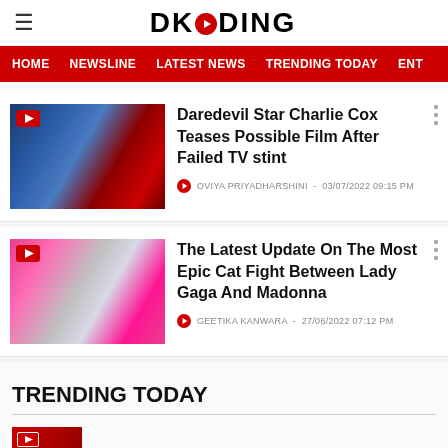DKODING
HOME   NEWSLINE   LATEST NEWS   TRENDING TODAY   ENT
Daredevil Star Charlie Cox Teases Possible Film After Failed TV stint
OVIYA PRIYADHARSHINI - 03/07/2022 09:15 PM
The Latest Update On The Most Epic Cat Fight Between Lady Gaga And Madonna
GEETIKA KANWARA - 27/06/2022 07:12 PM
TRENDING TODAY